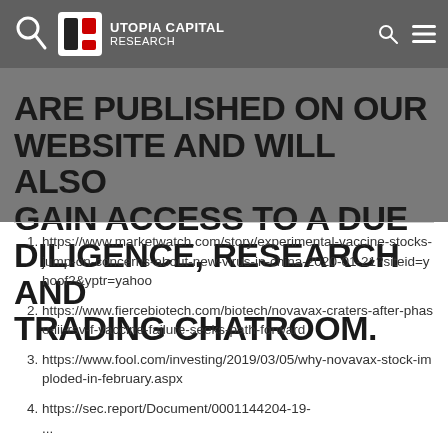Utopia Capital Research
ARE PUBLISHED ON OUR WEBSITE AND WILL ALSO GAIN ACCESS TO A DUE DILIGENCE, RESEARCH AND TRADING CHATROOM.
https://www.marketwatch.com/story/experimental-vaccine-stocks-jump-on-concerns-about-new-virus-in-china-2020-01-21?siteid=yhoof2&yptr=yahoo
https://www.fiercebiotech.com/biotech/novavax-craters-after-phase-iii-rsv-f-vaccine-failure-seeks-path-forward
https://www.fool.com/investing/2019/03/05/why-novavax-stock-imploded-in-february.aspx
https://sec.report/Document/0001144204-19-...